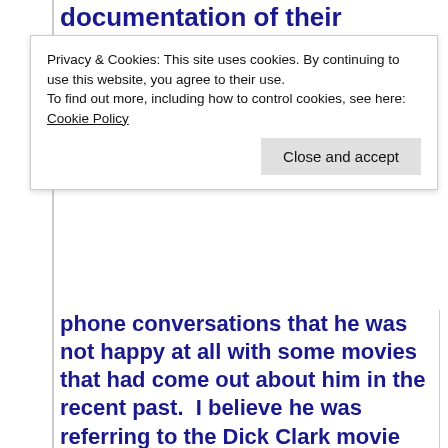documentation of their corporate
Privacy & Cookies: This site uses cookies. By continuing to use this website, you agree to their use.
To find out more, including how to control cookies, see here: Cookie Policy
Close and accept
phone conversations that he was not happy at all with some movies that had come out about him in the recent past.  I believe he was referring to the Dick Clark movie with Kurt Russell which came out in 1979.  He did not like the way he was portrayed.  He said he wished they had asked him before they did it...some of Elvis's friends and associates from before 1977 played a part in that movieproduction.  I believe that THIS IS ELVIS was his biography done the